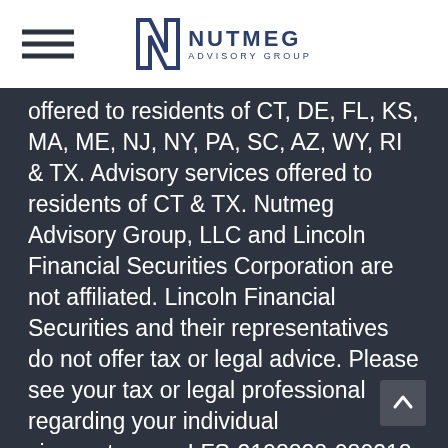Nutmeg Advisory Group
offered to residents of CT, DE, FL, KS, MA, ME, NJ, NY, PA, SC, AZ, WY, RI & TX. Advisory services offered to residents of CT & TX. Nutmeg Advisory Group, LLC and Lincoln Financial Securities Corporation are not affiliated. Lincoln Financial Securities and their representatives do not offer tax or legal advice. Please see your tax or legal professional regarding your individual circumstances. LFS-2198828-080218
See Lincoln Financial Securities (LFS') Form CRS Customer Relationship Summary, available here, for succinct information about the relationships and services LFS offers to retail investors, related fees and costs, specified conflicts of interest, standards